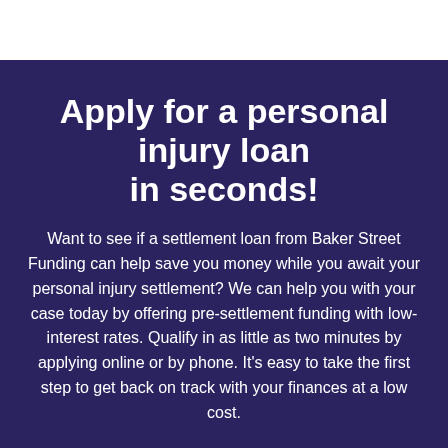Apply for a personal injury loan in seconds!
Want to see if a settlement loan from Baker Street Funding can help save you money while you await your personal injury settlement? We can help you with your case today by offering pre-settlement funding with low-interest rates. Qualify in as little as two minutes by applying online or by phone. It's easy to take the first step to get back on track with your finances at a low cost.
Apply now